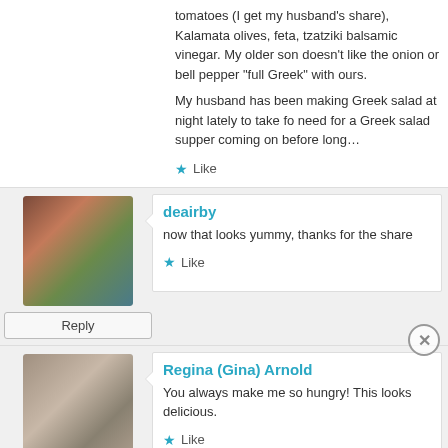...Even my two boys love it. We use a little Romaine, lots of cucumbers, tomatoes (I get my husband's share), Kalamata olives, feta, tzatziki, balsamic vinegar. My older son doesn't like the onion or bell pepper... "full Greek" with ours.

My husband has been making Greek salad at night lately to take for... need for a Greek salad supper coming on before long…
Like
deairby
now that looks yummy, thanks for the share
Like
Regina (Gina) Arnold
You always make me so hungry! This looks delicious.
Like
Advertisements
[Figure (infographic): DuckDuckGo advertisement banner: orange left section with text 'Search, browse, and email with more privacy. All in One Free App' and dark right section with DuckDuckGo duck logo and 'DuckDuckGo' text]